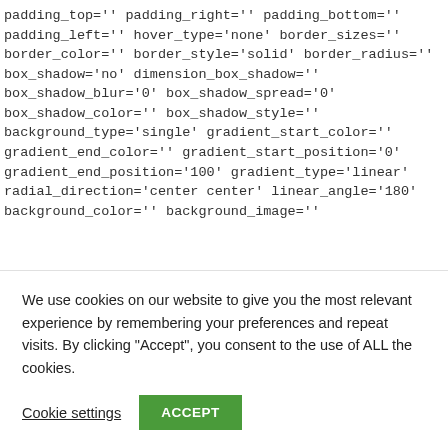padding_top='' padding_right='' padding_bottom='' padding_left='' hover_type='none' border_sizes='' border_color='' border_style='solid' border_radius='' box_shadow='no' dimension_box_shadow='' box_shadow_blur='0' box_shadow_spread='0' box_shadow_color='' box_shadow_style='' background_type='single' gradient_start_color='' gradient_end_color='' gradient_start_position='0' gradient_end_position='100' gradient_type='linear' radial_direction='center center' linear_angle='180' background_color='' background_image=''
We use cookies on our website to give you the most relevant experience by remembering your preferences and repeat visits. By clicking "Accept", you consent to the use of ALL the cookies.
Cookie settings
ACCEPT